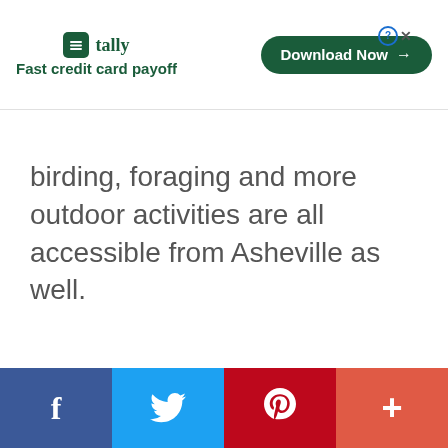[Figure (other): Tally advertisement banner with logo, tagline 'Fast credit card payoff', and a 'Download Now' button with close controls]
birding, foraging and more outdoor activities are all accessible from Asheville as well.
[Figure (other): Social sharing bar with Facebook, Twitter, Pinterest, and More (+) buttons]